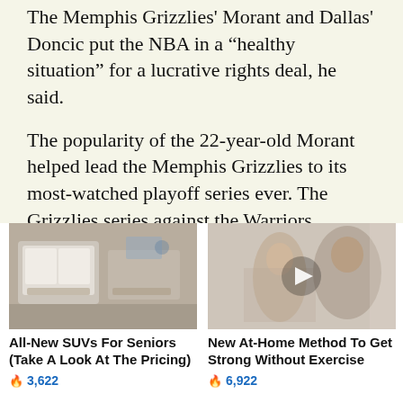The Memphis Grizzlies' Morant and Dallas' Doncic put the NBA in a “healthy situation” for a lucrative rights deal, he said.
The popularity of the 22-year-old Morant helped lead the Memphis Grizzlies to its most-watched playoff series ever. The Grizzlies series against the Warriors averaged 5.9 million viewers over six games. That included 7.7 million viewers who watched game one – the highest-ra[ted] the
[Figure (photo): Interior of a luxury SUV showing cream/beige leather seats and interior]
All-New SUVs For Seniors (Take A Look At The Pricing)
🔥 3,622
[Figure (photo): Two people exercising, a woman and a muscular man, with a video play button overlay]
New At-Home Method To Get Strong Without Exercise
🔥 6,922